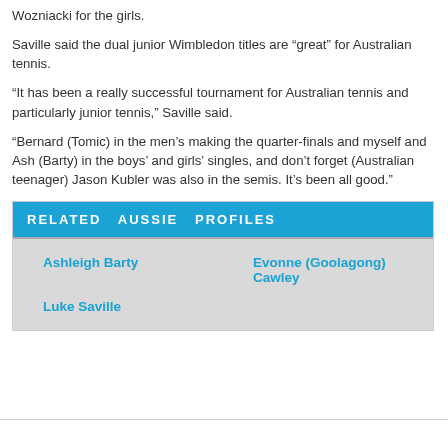Wozniacki for the girls.
Saville said the dual junior Wimbledon titles are “great” for Australian tennis.
“It has been a really successful tournament for Australian tennis and particularly junior tennis,” Saville said.
“Bernard (Tomic) in the men’s making the quarter-finals and myself and Ash (Barty) in the boys’ and girls’ singles, and don’t forget (Australian teenager) Jason Kubler was also in the semis. It’s been all good.”
RELATED  AUSSIE  PROFILES
| Ashleigh Barty | Evonne (Goolagong) Cawley |
| Luke Saville |  |